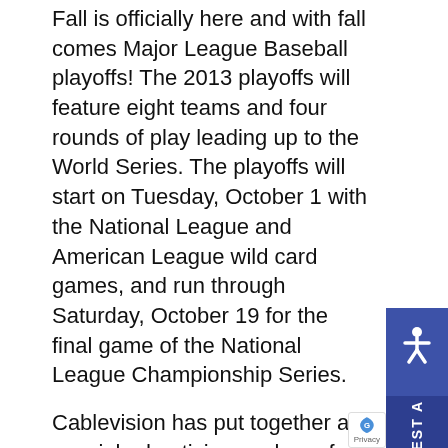Fall is officially here and with fall comes Major League Baseball playoffs! The 2013 playoffs will feature eight teams and four rounds of play leading up to the World Series. The playoffs will start on Tuesday, October 1 with the National League and American League wild card games, and run through Saturday, October 19 for the final game of the National League Championship Series.

Cablevision has put together a special advertising package for the playoff series. All games will air on TBS and the American League wild card game could feature the New York Yankees! In the case that the Yankees do not make the playoffs, advertising during these games can still give your business exposure. Past ratings have shown New York baseball fans will continue to watch